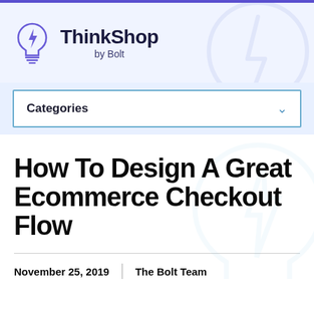[Figure (logo): ThinkShop by Bolt logo with lightbulb icon]
Categories
How To Design A Great Ecommerce Checkout Flow
November 25, 2019 | The Bolt Team